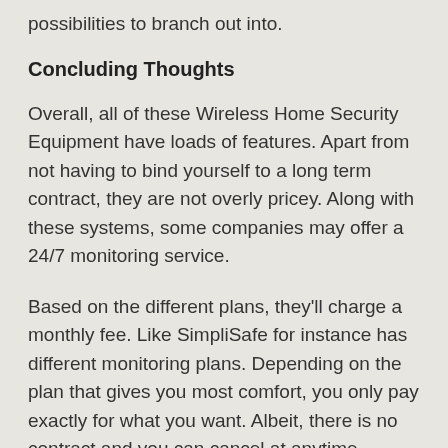possibilities to branch out into.
Concluding Thoughts
Overall, all of these Wireless Home Security Equipment have loads of features. Apart from not having to bind yourself to a long term contract, they are not overly pricey. Along with these systems, some companies may offer a 24/7 monitoring service.
Based on the different plans, they'll charge a monthly fee. Like SimpliSafe for instance has different monitoring plans. Depending on the plan that gives you most comfort, you only pay exactly for what you want. Albeit, there is no contract and you can cancel at anytime.
Hope you are happy with your experience at